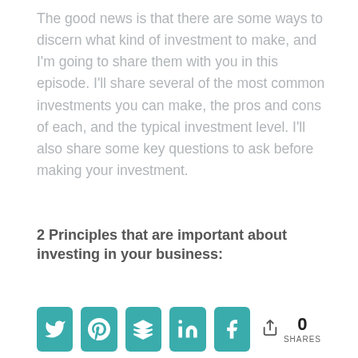The good news is that there are some ways to discern what kind of investment to make, and I'm going to share them with you in this episode. I'll share several of the most common investments you can make, the pros and cons of each, and the typical investment level. I'll also share some key questions to ask before making your investment.
2 Principles that are important about investing in your business:
You should continually be investing in
[Figure (infographic): Social share bar with teal buttons for Twitter, Pinterest, Buffer, LinkedIn, Facebook, and a share count showing 0 SHARES]